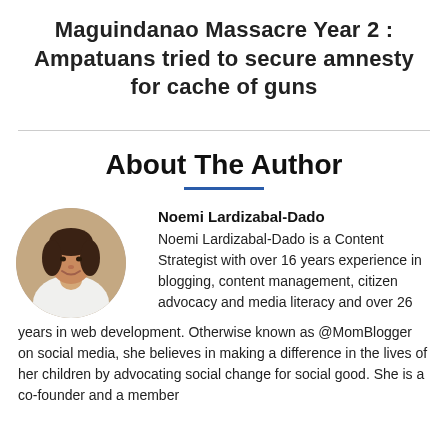Maguindanao Massacre Year 2 : Ampatuans tried to secure amnesty for cache of guns
About The Author
[Figure (photo): Circular portrait photo of Noemi Lardizabal-Dado, a woman with short dark hair wearing a white top]
Noemi Lardizabal-Dado
Noemi Lardizabal-Dado is a Content Strategist with over 16 years experience in blogging, content management, citizen advocacy and media literacy and over 26 years in web development. Otherwise known as @MomBlogger on social media, she believes in making a difference in the lives of her children by advocating social change for social good. She is a co-founder and a member